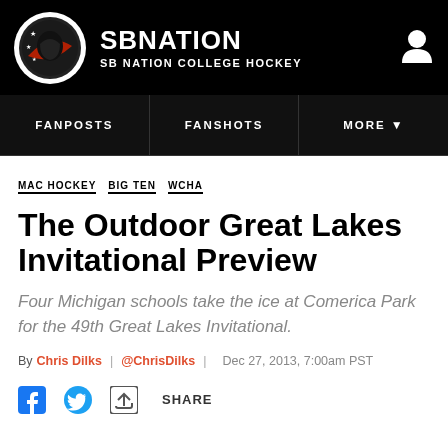SB NATION / SB NATION COLLEGE HOCKEY
FANPOSTS | FANSHOTS | MORE
MAC HOCKEY  BIG TEN  WCHA
The Outdoor Great Lakes Invitational Preview
Four Michigan schools take the ice at Comerica Park for the 49th Great Lakes Invitational.
By Chris Dilks | @ChrisDilks | Dec 27, 2013, 7:00am PST
SHARE